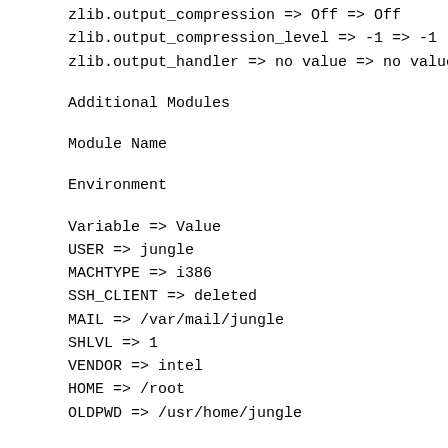zlib.output_compression => Off => Off
zlib.output_compression_level => -1 => -1
zlib.output_handler => no value => no value
Additional Modules
Module Name
Environment
Variable => Value
USER => jungle
MACHTYPE => i386
SSH_CLIENT => deleted
MAIL => /var/mail/jungle
SHLVL => 1
VENDOR => intel
HOME => /root
OLDPWD => /usr/home/jungle